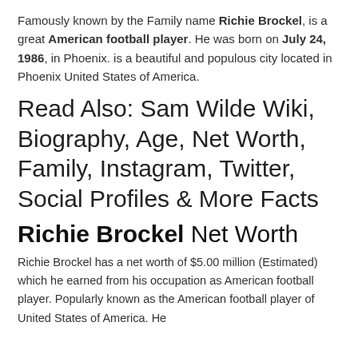Famously known by the Family name Richie Brockel, is a great American football player. He was born on July 24, 1986, in Phoenix. is a beautiful and populous city located in Phoenix United States of America.
Read Also: Sam Wilde Wiki, Biography, Age, Net Worth, Family, Instagram, Twitter, Social Profiles & More Facts
Richie Brockel Net Worth
Richie Brockel has a net worth of $5.00 million (Estimated) which he earned from his occupation as American football player. Popularly known as the American football player of United States of America. He